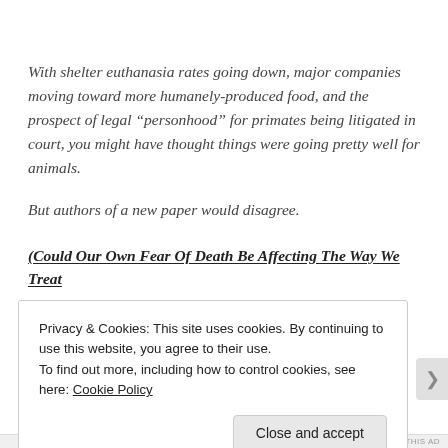With shelter euthanasia rates going down, major companies moving toward more humanely-produced food, and the prospect of legal “personhood” for primates being litigated in court, you might have thought things were going pretty well for animals.
But authors of a new paper would disagree.
(Could Our Own Fear Of Death Be Affecting The Way We Treat
Privacy & Cookies: This site uses cookies. By continuing to use this website, you agree to their use.
To find out more, including how to control cookies, see here: Cookie Policy